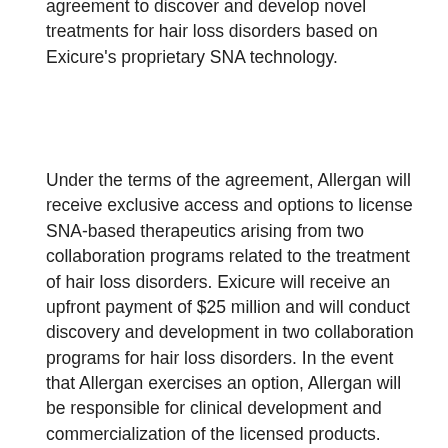agreement to discover and develop novel treatments for hair loss disorders based on Exicure's proprietary SNA technology.
Under the terms of the agreement, Allergan will receive exclusive access and options to license SNA-based therapeutics arising from two collaboration programs related to the treatment of hair loss disorders. Exicure will receive an upfront payment of $25 million and will conduct discovery and development in two collaboration programs for hair loss disorders. In the event that Allergan exercises an option, Allergan will be responsible for clinical development and commercialization of the licensed products. Exicure will be eligible to receive development and regulatory milestones of up to $97.5 million per program and commercial milestones of up to $265 million per program. Exicure will also be eligible to receive tiered royalties on worldwide net product sales of mid-single digit to mid-teens percentages on worldwide net